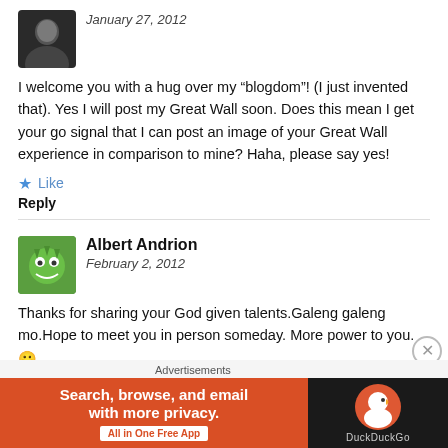January 27, 2012
I welcome you with a hug over my “blogdom”! (I just invented that). Yes I will post my Great Wall soon. Does this mean I get your go signal that I can post an image of your Great Wall experience in comparison to mine? Haha, please say yes!
Like
Reply
Albert Andrion
February 2, 2012
Thanks for sharing your God given talents.Galeng galeng mo.Hope to meet you in person someday. More power to you. 😐
Like
[Figure (infographic): DuckDuckGo advertisement banner: orange section with text 'Search, browse, and email with more privacy.' and 'All in One Free App' button, dark section with DuckDuckGo logo and brand name.]